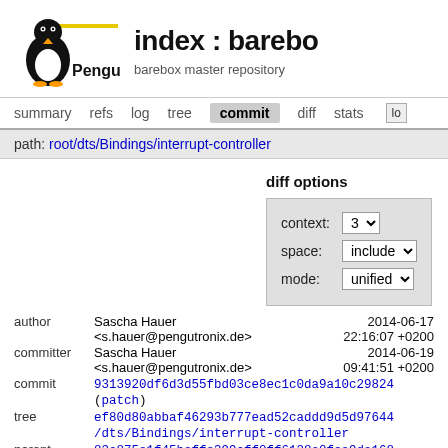[Figure (logo): Pengutronix logo with penguin and yellow line, text 'Pengutronix.']
index : barebo
barebox master repository
summary   refs   log   tree   commit   diff   stats   lo
path: root/dts/Bindings/interrupt-controller
diff options
| context: | 3 |
| space: | include |
| mode: | unified |
author   Sascha Hauer
<s.hauer@pengutronix.de>
2014-06-17
22:16:07 +0200
committer   Sascha Hauer
<s.hauer@pengutronix.de>
2014-06-19
09:41:51 +0200
commit   9313920df6d3d55fbd03ce8ec1c0da9a10c29824 (patch)
tree   ef80d80abbaf46293b777ead52caddd9d5d97644 /dts/Bindings/interrupt-controller
parent   83e875e1f45beffe399cff0ff6128e0fca9da168 (diff)